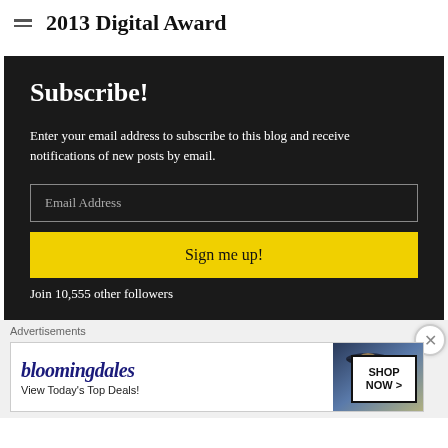2013 Digital Award
Subscribe!
Enter your email address to subscribe to this blog and receive notifications of new posts by email.
Email Address
Sign me up!
Join 10,555 other followers
Advertisements
[Figure (other): Bloomingdale's advertisement banner with logo, 'View Today's Top Deals!' tagline, woman in hat image, and 'SHOP NOW >' button]